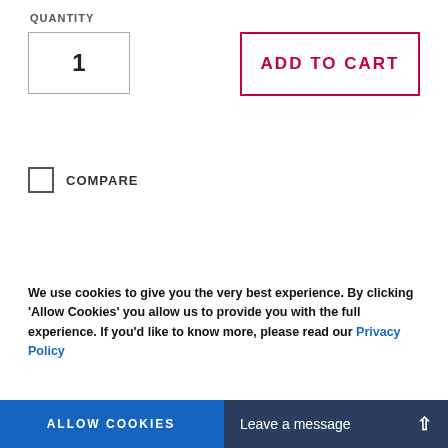QUANTITY
1
ADD TO CART
COMPARE
[Figure (photo): Partial view of a grey/dark teal rubber or plastic component (appears to be a clamp or fastener) shown from above, cropped at the bottom of the frame.]
We use cookies to give you the very best experience. By clicking 'Allow Cookies' you allow us to provide you with the full experience. If you'd like to know more, please read our Privacy Policy
ALLOW COOKIES
COOKIES SETTINGS
Leave a message